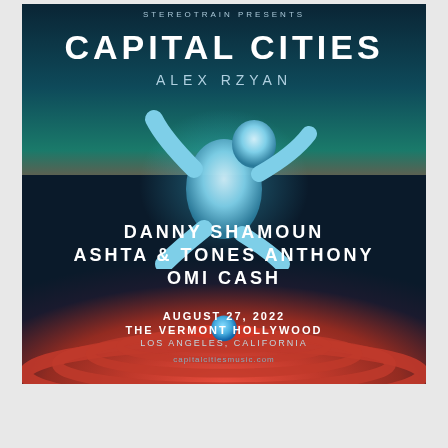[Figure (illustration): Concert event poster for Capital Cities presented by Stereotrain. Dark background with teal-to-red gradient. Features a 3D rendered figure falling/floating in the upper portion. Lower half has concentric red ripple circles with a blue sphere. Text includes: STEREOTRAIN PRESENTS, CAPITAL CITIES, ALEX RZYAN, DANNY SHAMOUN, ASHTA & TONES ANTHONY, OMI CASH, AUGUST 27, 2022, THE VERMONT HOLLYWOOD, LOS ANGELES, CALIFORNIA, capitalcitiesmusic.com]
[Figure (illustration): Banner advertisement showing veteransofarmenia.org website and text SOLDIER LEFT BEHIND on a red bar. Has a blue circular accessibility icon on the left.]